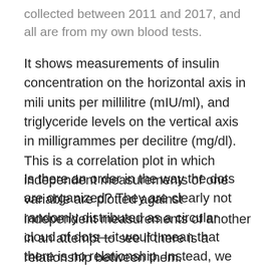collected between 2011 and 2017, and all are from my own blood tests.
It shows measurements of insulin concentration on the horizontal axis in mili units per millilitre (mIU/ml), and triglyceride levels on the vertical axis in milligrammes per decilitre (mg/dl). This is a correlation plot in which independent measurements of one variable are plotted against independent measurements of another in an attempt to see if there is a relationship between them.
Is there an order in the way the dots are organized? They are clearly not randomly distributed as a circular cloud of dots—it would mean that there is no relationship. Instead, we see what looks like a linear relationship in which lower values of insulin correspond to lower values of triglycerides, and higher values of insulin correspond to